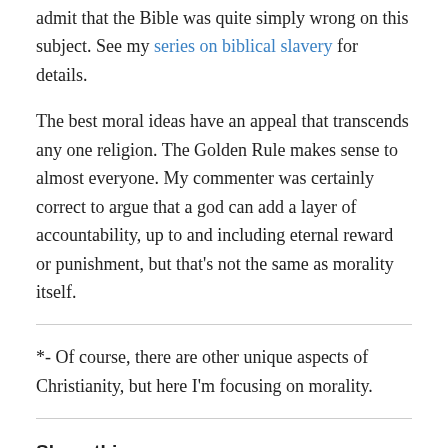admit that the Bible was quite simply wrong on this subject. See my series on biblical slavery for details.
The best moral ideas have an appeal that transcends any one religion. The Golden Rule makes sense to almost everyone. My commenter was certainly correct to argue that a god can add a layer of accountability, up to and including eternal reward or punishment, but that’s not the same as morality itself.
*- Of course, there are other unique aspects of Christianity, but here I’m focusing on morality.
Share this:
Twitter   Facebook